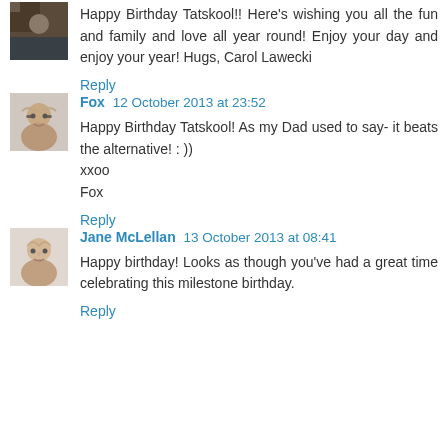[Figure (photo): Small avatar photo of commenter (partially cropped at top)]
Happy Birthday Tatskool!! Here's wishing you all the fun and family and love all year round! Enjoy your day and enjoy your year! Hugs, Carol Lawecki
Reply
[Figure (photo): Avatar photo of Fox, woman with glasses]
Fox  12 October 2013 at 23:52
Happy Birthday Tatskool! As my Dad used to say- it beats the alternative! : ))
xxoo
Fox
Reply
[Figure (photo): Avatar photo of Jane McLellan]
Jane McLellan  13 October 2013 at 08:41
Happy birthday! Looks as though you've had a great time celebrating this milestone birthday.
Reply